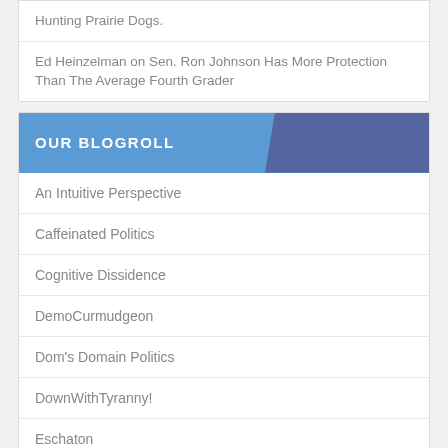Hunting Prairie Dogs.
Ed Heinzelman on Sen. Ron Johnson Has More Protection Than The Average Fourth Grader
OUR BLOGROLL
An Intuitive Perspective
Caffeinated Politics
Cognitive Dissidence
DemoCurmudgeon
Dom's Domain Politics
DownWithTyranny!
Eschaton
Jake's Economic TA Funhouse
MAL Contends